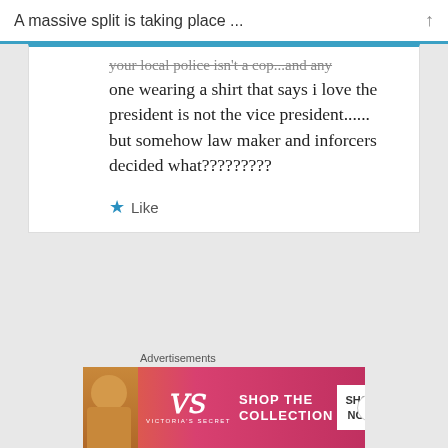A massive split is taking place ...
your local police isn't a cop...and any one wearing a shirt that says i love the president is not the vice president...... but somehow law maker and inforcers decided what?????????
★ Like
Comments are closed.
[Figure (advertisement): Victoria's Secret advertisement banner showing a woman, VS logo, 'SHOP THE COLLECTION' text, and 'SHOP NOW' button]